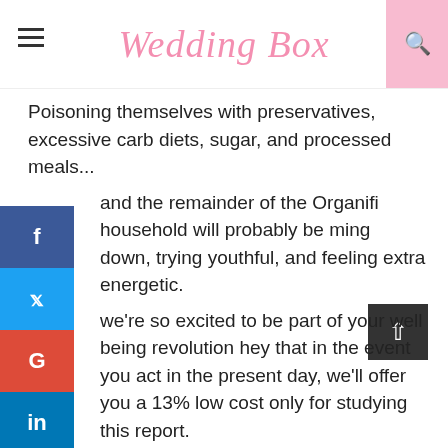Wedding Box
Poisoning themselves with preservatives, excessive carb diets, sugar, and processed meals...
and the remainder of the Organifi household will probably be ming down, trying youthful, and feeling extra energetic.
we're so excited to be part of your well being revolution hey that in the event you act in the present day, we'll offer you a 13% low cost only for studying this report.
Your low cost will mechanically be utilized whenever you click on the button under.
Be warned, nevertheless... this will probably be a restricted time solely low cost.
When you do, you'll be taken to our safe checkout web page, trusted by over 4 million well being junkies worldwide.